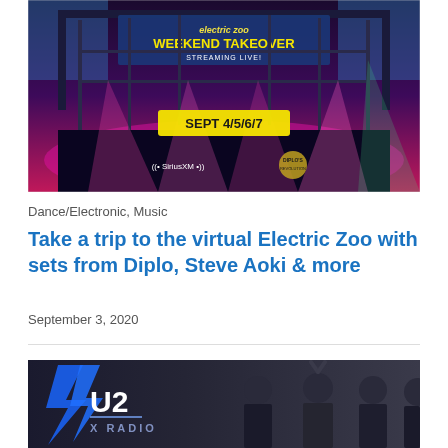[Figure (photo): Electric Zoo Weekend Takeover promotional banner showing a neon-lit festival stage with text: electric zoo WEEKEND TAKEOVER STREAMING LIVE! SEPT 4/5/6/7, with SiriusXM and Diplo's Revolution logos]
Dance/Electronic, Music
Take a trip to the virtual Electric Zoo with sets from Diplo, Steve Aoki & more
September 3, 2020
[Figure (photo): U2 X Radio promotional image showing band members in dark lighting with U2 X RADIO logo in blue lightning bolt style on the left]